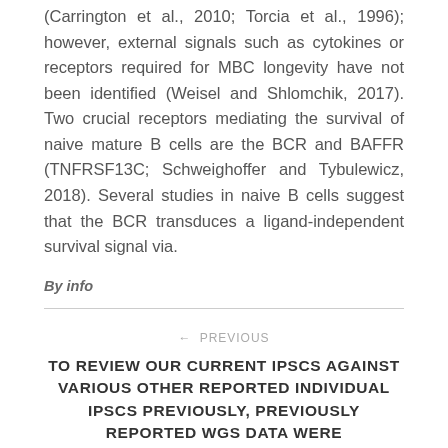(Carrington et al., 2010; Torcia et al., 1996); however, external signals such as cytokines or receptors required for MBC longevity have not been identified (Weisel and Shlomchik, 2017). Two crucial receptors mediating the survival of naive mature B cells are the BCR and BAFFR (TNFRSF13C; Schweighoffer and Tybulewicz, 2018). Several studies in naive B cells suggest that the BCR transduces a ligand-independent survival signal via.
By info
← PREVIOUS
TO REVIEW OUR CURRENT IPSCS AGAINST VARIOUS OTHER REPORTED INDIVIDUAL IPSCS PREVIOUSLY, PREVIOUSLY REPORTED WGS DATA WERE DOWNLOADED FROM OPEN PUBLIC DIRECTORIES AND REANALYZED USING OUR VERY OWN BIOINFORMATICS APPROACHES